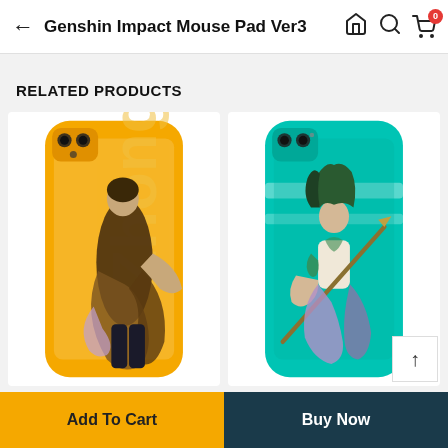Genshin Impact Mouse Pad Ver3
RELATED PRODUCTS
[Figure (photo): Genshin Impact phone case with yellow background and anime character (Zhongli) design]
[Figure (photo): Genshin Impact phone case with teal/cyan background and anime character (Xiao) design]